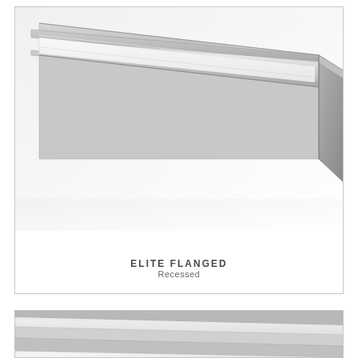[Figure (photo): Close-up photo of a silver/brushed nickel aluminum recessed flanged LED light fixture channel, shown at an angle. The channel has a flat frosted diffuser panel on top and a boxy end cap visible at the lower right.]
ELITE FLANGED
Recessed
[Figure (photo): Partial close-up photo of a similar silver aluminum LED channel profile, shown at an angle revealing the profile cross-section with a frosted white diffuser. Only the top portion of the fixture is visible.]